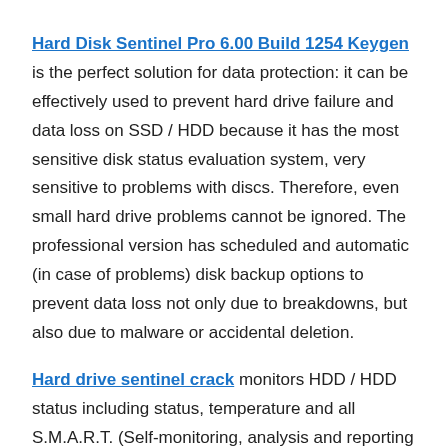Hard Disk Sentinel Pro 6.00 Build 1254 Keygen is the perfect solution for data protection: it can be effectively used to prevent hard drive failure and data loss on SSD / HDD because it has the most sensitive disk status evaluation system, very sensitive to problems with discs. Therefore, even small hard drive problems cannot be ignored. The professional version has scheduled and automatic (in case of problems) disk backup options to prevent data loss not only due to breakdowns, but also due to malware or accidental deletion.
Hard drive sentinel crack monitors HDD / HDD status including status, temperature and all S.M.A.R.T. (Self-monitoring, analysis and reporting technology found in most modern hard drives, solid